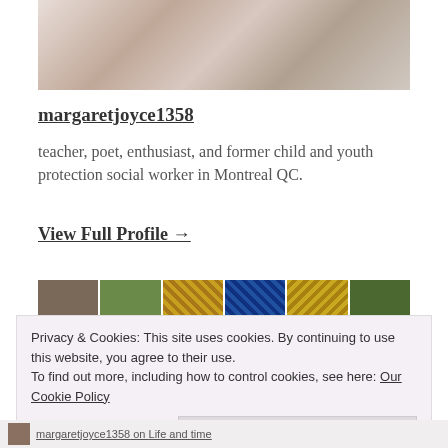[Figure (photo): Partial photo showing person with white dog or animal, person wearing watch and white clothing]
margaretjoyce1358
teacher, poet, enthusiast, and former child and youth protection social worker in Montreal QC.
View Full Profile →
[Figure (photo): Row of thumbnail images: portrait photo, green nature photo, gold geometric pattern, blue geometric pattern, gold geometric pattern, green tree pattern]
Privacy & Cookies: This site uses cookies. By continuing to use this website, you agree to their use.
To find out more, including how to control cookies, see here: Our Cookie Policy
Close and accept
margaretjoyce1358 on Life and time